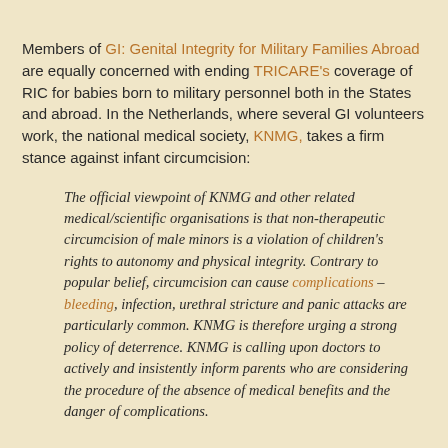Members of GI: Genital Integrity for Military Families Abroad are equally concerned with ending TRICARE's coverage of RIC for babies born to military personnel both in the States and abroad. In the Netherlands, where several GI volunteers work, the national medical society, KNMG, takes a firm stance against infant circumcision:
The official viewpoint of KNMG and other related medical/scientific organisations is that non-therapeutic circumcision of male minors is a violation of children's rights to autonomy and physical integrity. Contrary to popular belief, circumcision can cause complications – bleeding, infection, urethral stricture and panic attacks are particularly common. KNMG is therefore urging a strong policy of deterrence. KNMG is calling upon doctors to actively and insistently inform parents who are considering the procedure of the absence of medical benefits and the danger of complications.